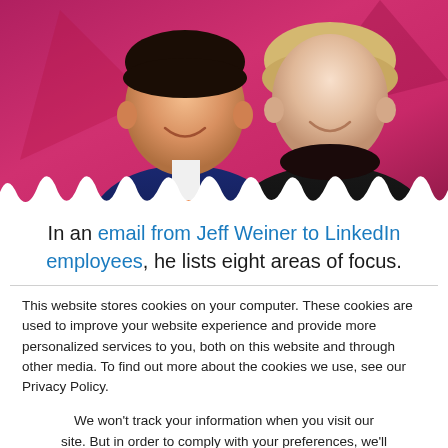[Figure (photo): Two smiling people (a man in a suit with orange tie and a woman with blonde hair) against a pink/magenta gradient background with geometric shapes. The bottom edge has a torn paper effect.]
In an email from Jeff Weiner to LinkedIn employees, he lists eight areas of focus.
This website stores cookies on your computer. These cookies are used to improve your website experience and provide more personalized services to you, both on this website and through other media. To find out more about the cookies we use, see our Privacy Policy.
We won't track your information when you visit our site. But in order to comply with your preferences, we'll have to use just one tiny cookie so that you're not asked to make this choice again.
Accept
Decline